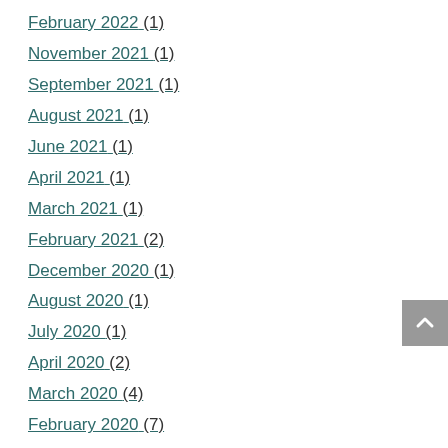February 2022 (1)
November 2021 (1)
September 2021 (1)
August 2021 (1)
June 2021 (1)
April 2021 (1)
March 2021 (1)
February 2021 (2)
December 2020 (1)
August 2020 (1)
July 2020 (1)
April 2020 (2)
March 2020 (4)
February 2020 (7)
January 2020 (3)
December 2019 (5)
November 2019 (12)